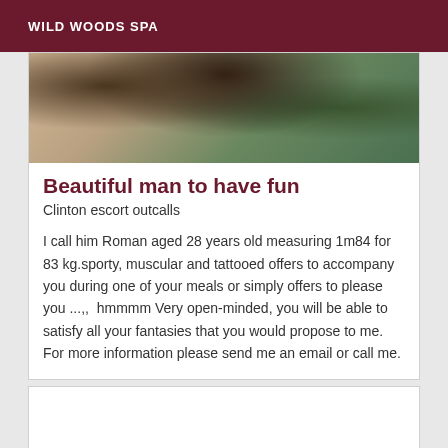WILD WOODS SPA
[Figure (photo): Photo showing a person with tattoos on their shoulder/arm, with outdoor greenery in the background]
Beautiful man to have fun
Clinton escort outcalls
I call him Roman aged 28 years old measuring 1m84 for 83 kg.sporty, muscular and tattooed offers to accompany you during one of your meals or simply offers to please you ...,,  hmmmm Very open-minded, you will be able to satisfy all your fantasies that you would propose to me. For more information please send me an email or call me.